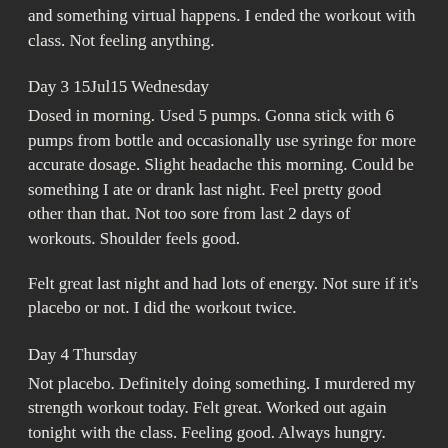and something virtual happens. I ended the workout with class. Not feeling anything.
Day 3 15Jul15 Wednesday
Dosed in morning. Used 5 pumps. Gonna stick with 6 pumps from bottle and occasionally use syringe for more accurate dosage. Slight headache this morning. Could be something I ate or drank last night. Feel pretty good other than that. Not too sore from last 2 days of workouts. Shoulder feels good.
Felt great last night and had lots of energy. Not sure if it's placebo or not. I did the workout twice.
Day 4 Thursday
Not placebo. Definitely doing something. I murdered my strength workout today. Felt great. Worked out again tonight with the class. Feeling good. Always hungry. Upped protein shake intake to 3 today.